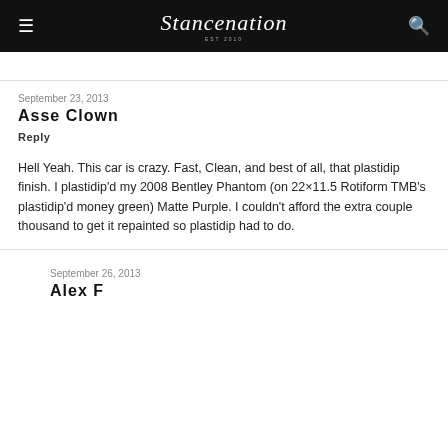Stancenation
September 23, 2013
Asse Clown
Reply
Hell Yeah. This car is crazy. Fast, Clean, and best of all, that plastidip finish. I plastidip'd my 2008 Bentley Phantom (on 22×11.5 Rotiform TMB's plastidip'd money green) Matte Purple. I couldn't afford the extra couple thousand to get it repainted so plastidip had to do.
September 26, 2013
Alex F